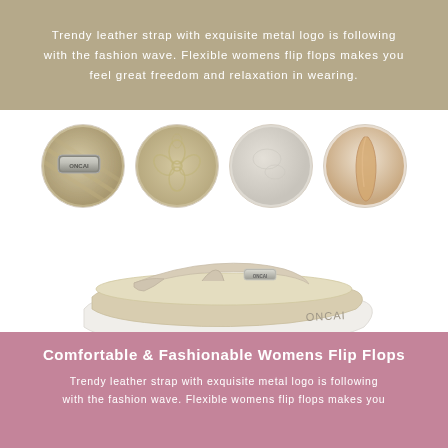Trendy leather strap with exquisite metal logo is following with the fashion wave. Flexible womens flip flops makes you feel great freedom and relaxation in wearing.
[Figure (photo): Four circular close-up detail shots of the flip flop: metal ONCAI logo on strap, floral embossed leather pattern, plain leather texture, and side strap detail.]
[Figure (photo): Full product photo of a beige/cream ONCAI women's flip flop sandal with leather strap and white platform sole, on white background.]
Comfortable & Fashionable Womens Flip Flops
Trendy leather strap with exquisite metal logo is following with the fashion wave. Flexible womens flip flops makes you